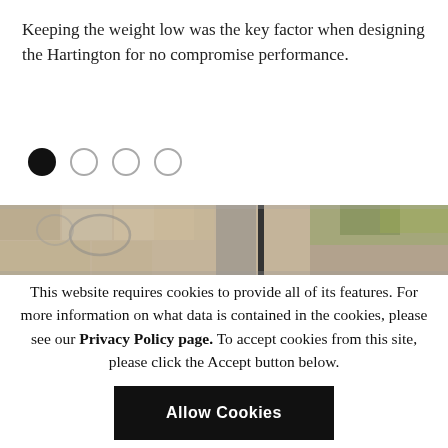Keeping the weight low was the key factor when designing the Hartington for no compromise performance.
[Figure (illustration): Four circular pagination dots: first dot filled black, three dots empty with grey border]
[Figure (photo): A horizontal strip photograph showing a stone wall, decorative ironwork, a lamp post, and green foliage]
This website requires cookies to provide all of its features. For more information on what data is contained in the cookies, please see our Privacy Policy page. To accept cookies from this site, please click the Accept button below.
Allow Cookies